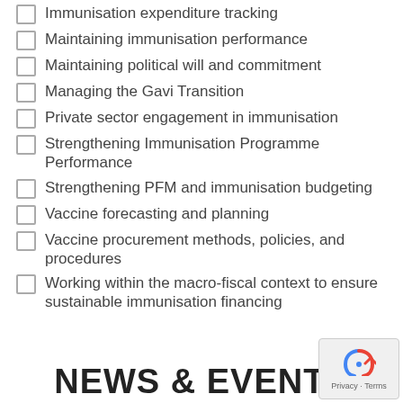Immunisation expenditure tracking
Maintaining immunisation performance
Maintaining political will and commitment
Managing the Gavi Transition
Private sector engagement in immunisation
Strengthening Immunisation Programme Performance
Strengthening PFM and immunisation budgeting
Vaccine forecasting and planning
Vaccine procurement methods, policies, and procedures
Working within the macro-fiscal context to ensure sustainable immunisation financing
NEWS & EVENTS